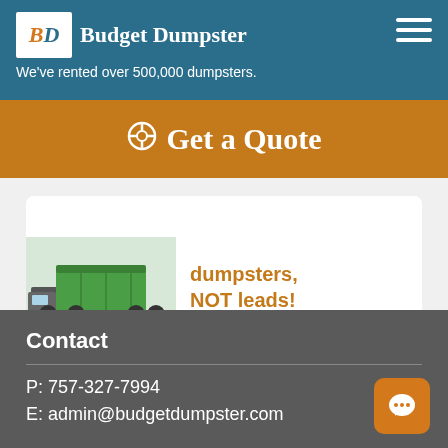Budget Dumpster — We've rented over 500,000 dumpsters.
Get a Quote
[Figure (photo): Green roll-off dumpster on a truck]
dumpsters, NOT leads!
Learn More
Contact
P: 757-327-7994
E: admin@budgetdumpster.com